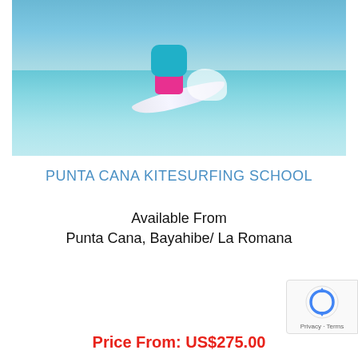[Figure (photo): Person kitesurfing in shallow turquoise water, wearing pink wetsuit bottom and teal shirt, holding kite lines, with a white board and water splash visible]
PUNTA CANA KITESURFING SCHOOL
Available From
Punta Cana, Bayahibe/ La Romana
Price From: US$275.00